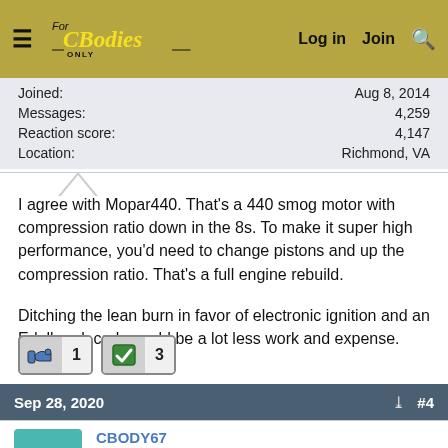[Figure (screenshot): Forum navigation bar with hamburger menu, For C Bodies Only logo, Log in, Join, and search icons]
| Field | Value |
| --- | --- |
| Joined: | Aug 8, 2014 |
| Messages: | 4,259 |
| Reaction score: | 4,147 |
| Location: | Richmond, VA |
I agree with Mopar440. That's a 440 smog motor with compression ratio down in the 8s. To make it super high performance, you'd need to change pistons and up the compression ratio. That's a full engine rebuild.

Ditching the lean burn in favor of electronic ignition and an Edelbrock carb would be a lot less work and expense.
[Figure (infographic): Reaction buttons: handshake/like icon with count 1, checkmark icon with count 3]
Sep 28, 2020  #4
CBODY67
Old Man with a Hat
Joined: Mar 27, 2011
Messages: 7,607